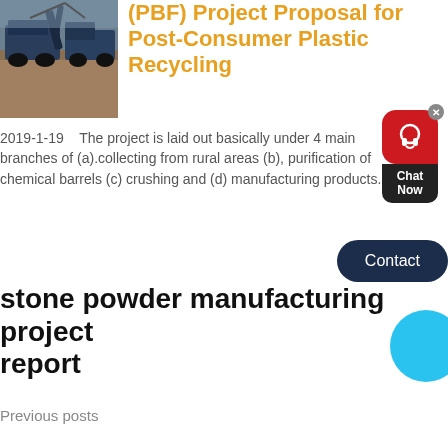[Figure (photo): Construction machinery (excavators/trucks) at a worksite, dark blue-gray tones]
(PBF) Project Proposal for Post-Consumer Plastic Recycling
2019-1-19    The project is laid out basically under 4 main branches of (a).collecting from rural areas (b), purification of chemical barrels (c) crushing and (d) manufacturing products.
stone powder manufacturing project report
Previous posts